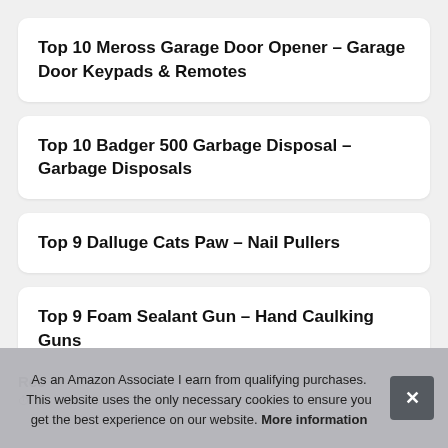Top 10 Meross Garage Door Opener – Garage Door Keypads & Remotes
Top 10 Badger 500 Garbage Disposal – Garbage Disposals
Top 9 Dalluge Cats Paw – Nail Pullers
Top 9 Foam Sealant Gun – Hand Caulking Guns
Rec
Te
As an Amazon Associate I earn from qualifying purchases. This website uses the only necessary cookies to ensure you get the best experience on our website. More information